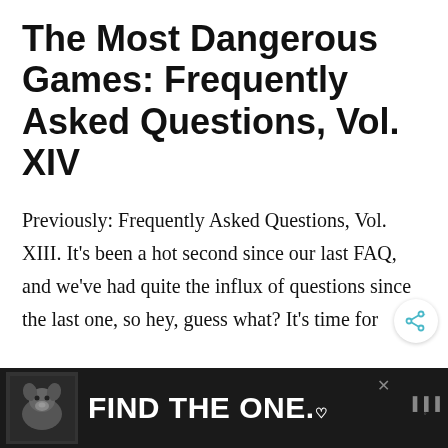The Most Dangerous Games: Frequently Asked Questions, Vol. XIV
Previously: Frequently Asked Questions, Vol. XIII. It’s been a hot second since our last FAQ, and we’ve had quite the influx of questions since the last one, so hey, guess what? It’s time for
[Figure (infographic): Advertisement banner with dark background showing a dog image on the left and the text 'FIND THE ONE.' in large white bold letters, with a small heart icon and an X close button.]